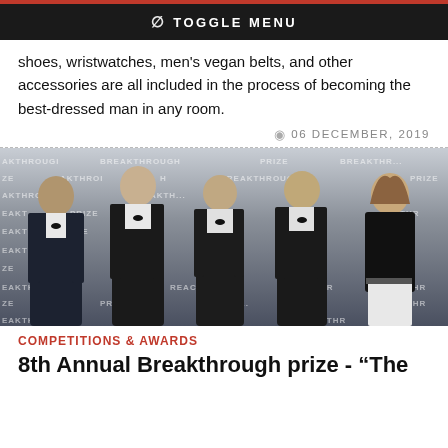TOGGLE MENU
shoes, wristwatches, men’s vegan belts, and other accessories are all included in the process of becoming the best-dressed man in any room.
06 DECEMBER, 2019
[Figure (photo): Group photo of five people (four men in tuxedos and one woman) posing in front of a Breakthrough Prize branded backdrop/step-and-repeat banner.]
COMPETITIONS & AWARDS
8th Annual Breakthrough prize - “The